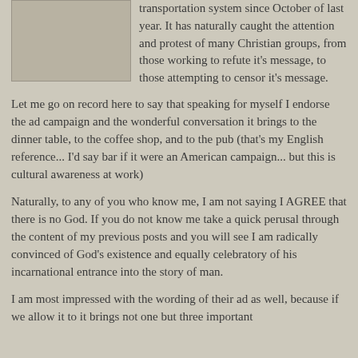[Figure (photo): Image placeholder box in upper left, gray/tan colored rectangle]
transportation system since October of last year. It has naturally caught the attention and protest of many Christian groups, from those working to refute it's message, to those attempting to censor it's message.
Let me go on record here to say that speaking for myself I endorse the ad campaign and the wonderful conversation it brings to the dinner table, to the coffee shop, and to the pub (that's my English reference... I'd say bar if it were an American campaign... but this is cultural awareness at work)
Naturally, to any of you who know me, I am not saying I AGREE that there is no God. If you do not know me take a quick perusal through the content of my previous posts and you will see I am radically convinced of God's existence and equally celebratory of his incarnational entrance into the story of man.
I am most impressed with the wording of their ad as well, because if we allow it to it brings not one but three important